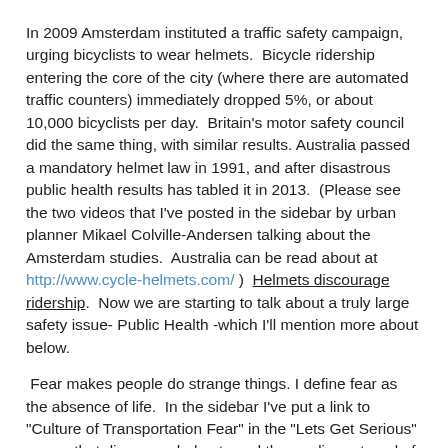In 2009 Amsterdam instituted a traffic safety campaign, urging bicyclists to wear helmets.  Bicycle ridership entering the core of the city (where there are automated traffic counters) immediately dropped 5%, or about 10,000 bicyclists per day.  Britain's motor safety council did the same thing, with similar results. Australia passed a mandatory helmet law in 1991, and after disastrous public health results has tabled it in 2013.  (Please see the two videos that I've posted in the sidebar by urban planner Mikael Colville-Andersen talking about the Amsterdam studies.  Australia can be read about at http://www.cycle-helmets.com/ )  Helmets discourage ridership.  Now we are starting to talk about a truly large safety issue- Public Health -which I'll mention more about below.
Fear makes people do strange things. I define fear as the absence of life.  In the sidebar I've put a link to "Culture of Transportation Fear" in the "Lets Get Serious" group, that discusses helmets and the media portrayal of bicycling as dangerous.  These messages are effective, sometimes they go too far and I occasionally have to remind myself that I